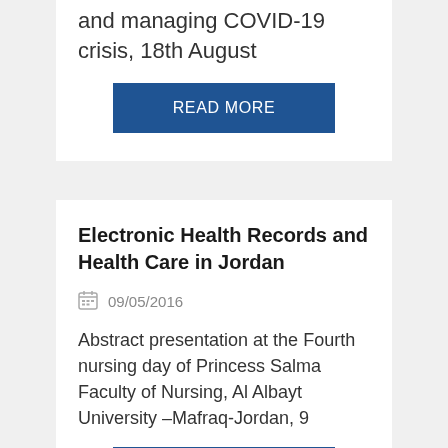and managing COVID-19 crisis, 18th August
READ MORE
Electronic Health Records and Health Care in Jordan
09/05/2016
Abstract presentation at the Fourth nursing day of Princess Salma Faculty of Nursing, Al Albayt University –Mafraq-Jordan, 9
READ MORE